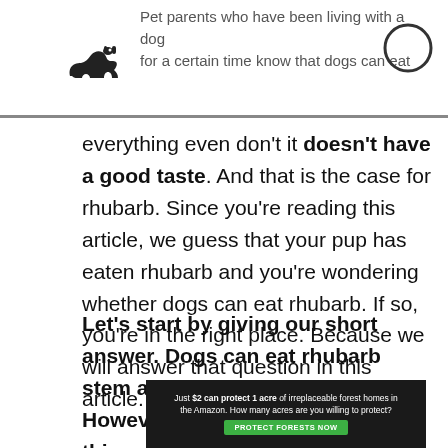Pet parents who have been living with a dog for a certain time know that dogs can eat
everything even don't it doesn't have a good taste. And that is the case for rhubarb. Since you're reading this article, we guess that your pup has eaten rhubarb and you're wondering whether dogs can eat rhubarb. If so, you're in the right place. Because we will answer that question in this article.
Let's start by giving our short answer. Dogs can eat rhubarb stem and benefit from them. However, we can't say the same thing about rhubarb leaves. Because they
[Figure (infographic): Advertisement banner with dark background showing text: 'Just $2 can protect 1 acre of irreplaceable forest homes in the Amazon. How many acres are you willing to protect?' with a green button labeled 'PROTECT FORESTS NOW']